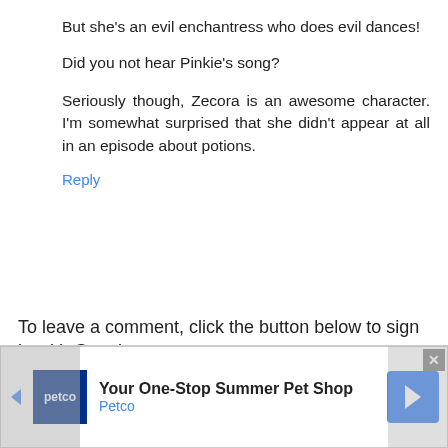But she's an evil enchantress who does evil dances!
Did you not hear Pinkie's song?
Seriously though, Zecora is an awesome character. I'm somewhat surprised that she didn't appear at all in an episode about potions.
Reply
To leave a comment, click the button below to sign in with Google.
[Figure (screenshot): Blue 'SIGN IN WITH GOOGLE' button]
Load more...
[Figure (infographic): Petco advertisement banner: 'Your One-Stop Summer Pet Shop' with Petco logo and navigation icon, close button in top right]